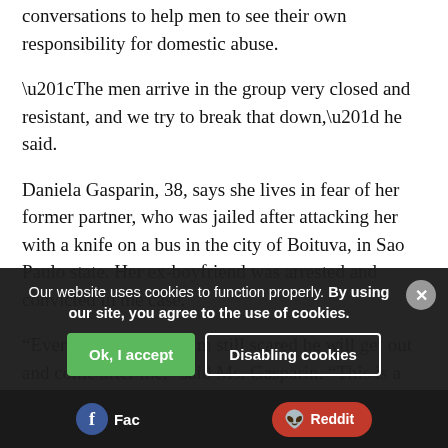conversations to help men to see their own responsibility for domestic abuse.
“The men arrive in the group very closed and resistant, and we try to break that down,” he said.
Daniela Gasparin, 38, says she lives in fear of her former partner, who was jailed after attacking her with a knife on a bus in the city of Boituva, in Sao Paulo state. Her ex-boyfriend was arrested and convicted in the case.
“Even if he is in jail, I’m still scared he will get out and come after me,” said Ms. Gasparin. “This is a love I cannot understand. How can a person love and also try to kill?”
Our website uses cookies to function properly. By using our site, you agree to the use of cookies.